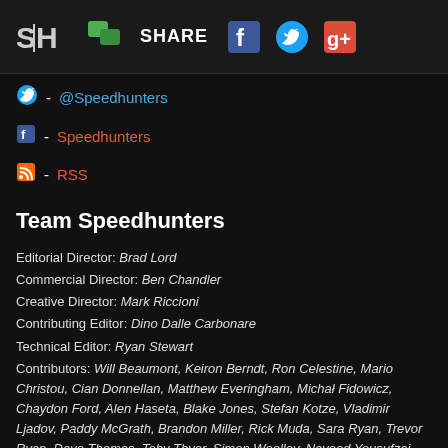SH SHARE [Facebook] [Twitter] [Google+]
@Speedhunters
Speedhunters
RSS
Team Speedhunters
Editorial Director: Brad Lord
Commercial Director: Ben Chandler
Creative Director: Mark Riccioni
Contributing Editor: Dino Dalle Carbonare
Technical Editor: Ryan Stewart
Contributors: Will Beaumont, Keiron Berndt, Ron Celestine, Mario Christou, Cian Donnellan, Matthew Everingham, Michał Fidowicz, Chaydon Ford, Alen Haseta, Blake Jones, Stefan Kotze, Vladimir Ljadov, Paddy McGrath, Brandon Miller, Rick Muda, Sara Ryan, Trevor Ryan, Dave Thomas, Toby Thyer, Simon Woolley, Naveed Yousufzai